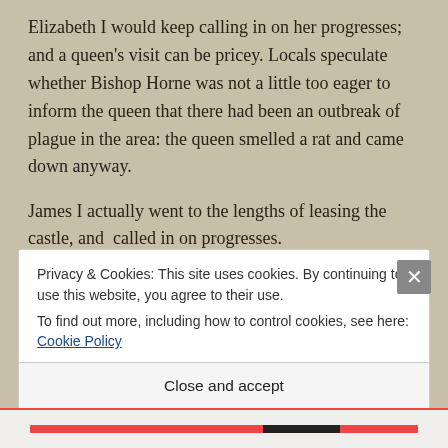Elizabeth I would keep calling in on her progresses; and a queen's visit can be pricey. Locals speculate whether Bishop Horne was not a little too eager to inform the queen that there had been an outbreak of plague in the area: the queen smelled a rat and came down anyway.
James I actually went to the lengths of leasing the castle, and  called in on progresses.
The royals just kept on coming: the Georges, Victoria. All
Privacy & Cookies: This site uses cookies. By continuing to use this website, you agree to their use.
To find out more, including how to control cookies, see here: Cookie Policy
Close and accept